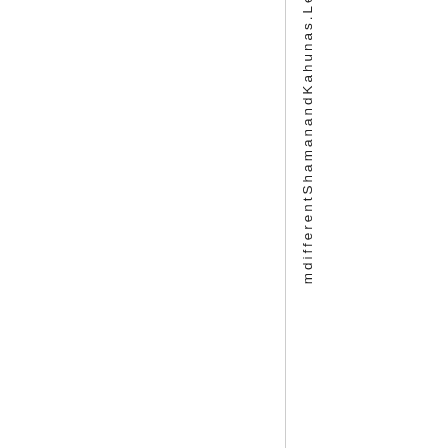mdifferentShamanandKahunas.Lea